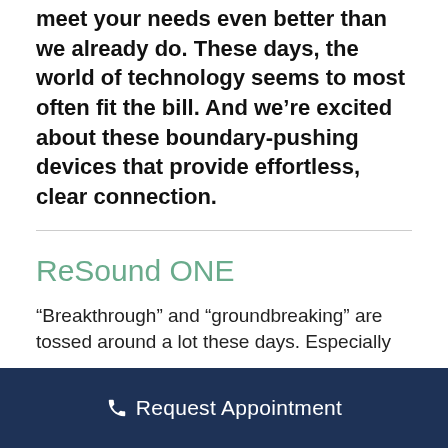We're always on the lookout for ways to meet your needs even better than we already do. These days, the world of technology seems to most often fit the bill. And we're excited about these boundary-pushing devices that provide effortless, clear connection.
ReSound ONE
“Breakthrough” and “groundbreaking” are tossed around a lot these days. Especially
Request Appointment